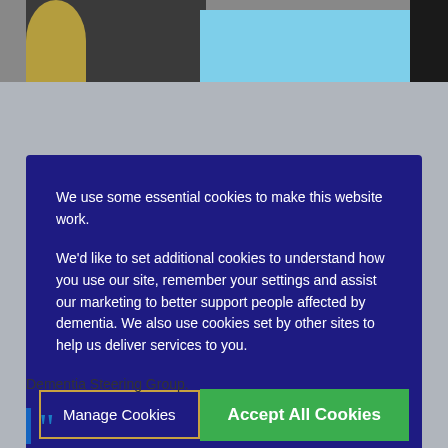[Figure (photo): Partial photo strip at top showing people in blue clothing, cropped]
We use some essential cookies to make this website work.

We'd like to set additional cookies to understand how you use our site, remember your settings and assist our marketing to better support people affected by dementia. We also use cookies set by other sites to help us deliver services to you.
Manage Cookies
Accept All Cookies
Dementia Steering Group.